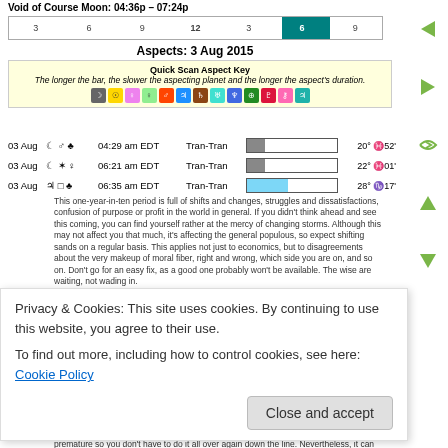Void of Course Moon: 04:36p - 07:24p
[Figure (infographic): Timeline bar showing hours 3,6,9,12,3,6,9 with teal highlight around 6 on right side]
Aspects: 3 Aug 2015
[Figure (infographic): Quick Scan Aspect Key box with planet color icons]
03 Aug D o' b 04:29 am EDT Tran-Tran 20° X52'
03 Aug D * 9 06:21 am EDT Tran-Tran 22° X01'
03 Aug 4 □ b 06:35 am EDT Tran-Tran 28° q17'
This one-year-in-ten period is full of shifts and changes, struggles and dissatisfactions, confusion of purpose or profit in the world in general. If you didn't think ahead and see this coming, you can find yourself rather at the mercy of changing storms. Although this may not affect you that much, it's affecting the general populous, so expect shifting sands on a regular basis. This applies not just to economics, but to disagreements about the very makeup of moral fiber, right and wrong, which side you are on, and so on. Don't go for an easy fix, as a good one probably won't be available. The wise are waiting, not wading in.
03 Aug D ♀ ☉ 12:56 pm EDT Tran-Tran 26° ≋03'
03 Aug D △ o' 01:50 pm EDT Tran-Tran 26° ≋36'
Today has strength and energy written all over it - a good time for a power breakfast, lunch, or dinner and getting down to brass tacks on deals you want to see really pick up speed. Or a good time for just getting out there and getting physical. A strong stride established today will take you all the way to the finish line.
Privacy & Cookies: This site uses cookies. By continuing to use this website, you agree to their use.
To find out more, including how to control cookies, see here: Cookie Policy
Close and accept
you're in competition, get your bid in first. The challenge is to be quick, yet avoid being premature so you don't have to do it all over again down the line. Nevertheless, it can be a